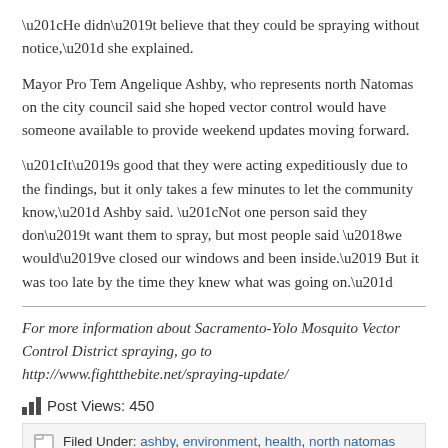“He didn’t believe that they could be spraying without notice,” she explained.
Mayor Pro Tem Angelique Ashby, who represents north Natomas on the city council said she hoped vector control would have someone available to provide weekend updates moving forward.
“It’s good that they were acting expeditiously due to the findings, but it only takes a few minutes to let the community know,” Ashby said. “Not one person said they don’t want them to spray, but most people said ‘we would’ve closed our windows and been inside.’ But it was too late by the time they knew what was going on.”
For more information about Sacramento-Yolo Mosquito Vector Control District spraying, go to http://www.fightthebite.net/spraying-update/
Post Views: 450
Filed Under: ashby, environment, health, north natomas
← Previous Post Seen in Natomas: Sun Drop in West